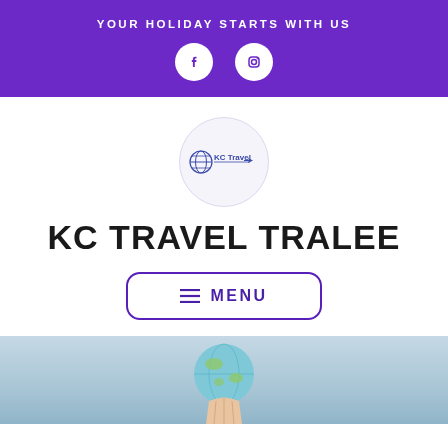YOUR HOLIDAY STARTS WITH US
[Figure (logo): Social media icons: Facebook and Instagram circular white icons on purple background]
[Figure (logo): KC Travel company logo - globe with KC Travel text and airplane]
KC TRAVEL TRALEE
≡ MENU
[Figure (photo): Person holding a globe against a light blue sky background, partially visible at bottom of page]